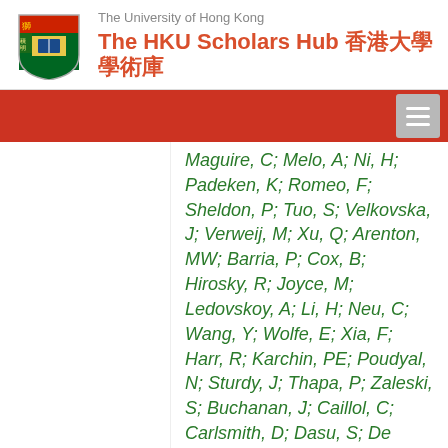The University of Hong Kong — The HKU Scholars Hub 香港大學學術庫
Maguire, C; Melo, A; Ni, H; Padeken, K; Romeo, F; Sheldon, P; Tuo, S; Velkovska, J; Verweij, M; Xu, Q; Arenton, MW; Barria, P; Cox, B; Hirosky, R; Joyce, M; Ledovskoy, A; Li, H; Neu, C; Wang, Y; Wolfe, E; Xia, F; Harr, R; Karchin, PE; Poudyal, N; Sturdy, J; Thapa, P; Zaleski, S; Buchanan, J; Caillol, C; Carlsmith, D; Dasu, S; De